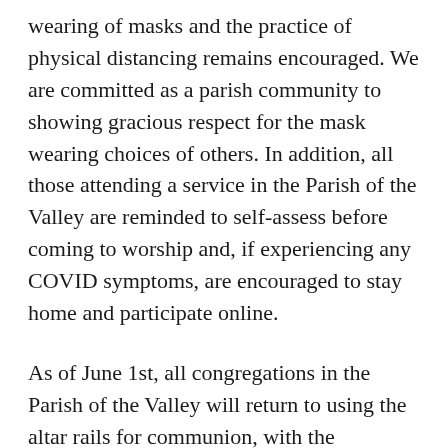wearing of masks and the practice of physical distancing remains encouraged. We are committed as a parish community to showing gracious respect for the mask wearing choices of others. In addition, all those attending a service in the Parish of the Valley are reminded to self-assess before coming to worship and, if experiencing any COVID symptoms, are encouraged to stay home and participate online.
As of June 1st, all congregations in the Parish of the Valley will return to using the altar rails for communion, with the exceptions of Holy Trinity Pembroke and St George's South Alice who will continue with standing stations for the time being. Please remember that communion "in one kind" (bread only) is considered full communion in the Anglican Church and no one is obligated to receive from the